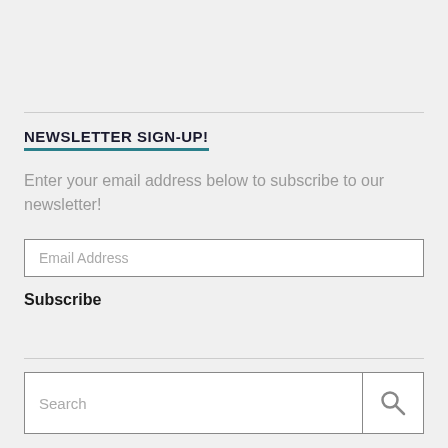NEWSLETTER SIGN-UP!
Enter your email address below to subscribe to our newsletter!
Email Address
Subscribe
Search